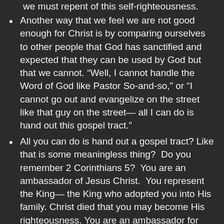we must repent of this self-righteousness.
Another way that we feel we are not good enough for Christ is by comparing ourselves to other people that God has sanctified and expected that they can be used by God but that we cannot. “Well, I cannot handle the Word of God like Pastor So-and-so,” or “I cannot go out and evangelize on the street like that guy on the street— all I can do is hand out this gospel tract.”
All you can do is hand out a gospel tract? Like that is some meaningless thing?  Do you remember 2 Corinthians 5?  You are an ambassador of Jesus Christ.  You represent the King— the King who adopted you into His family. Christ died that you may become His righteousness. You are an ambassador for Christ. Serve your King!